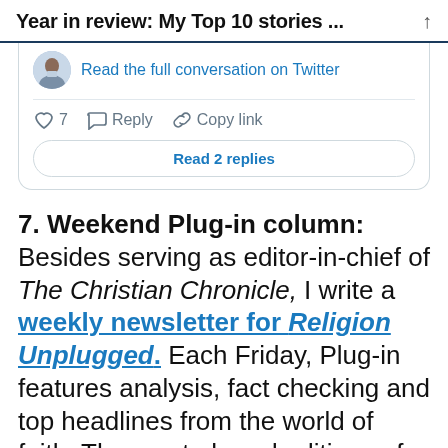Year in review: My Top 10 stories ...
[Figure (screenshot): Twitter/social media card showing an avatar, a 'Read the full conversation on Twitter' link, like/reply/copy-link actions, and a 'Read 2 replies' button.]
7. Weekend Plug-in column: Besides serving as editor-in-chief of The Christian Chronicle, I write a weekly newsletter for Religion Unplugged. Each Friday, Plug-in features analysis, fact checking and top headlines from the world of faith. The most-shared editions of 2021 highlighted Dave Ramsey doxxing a religion writer, Beth Moore leaving the Southern